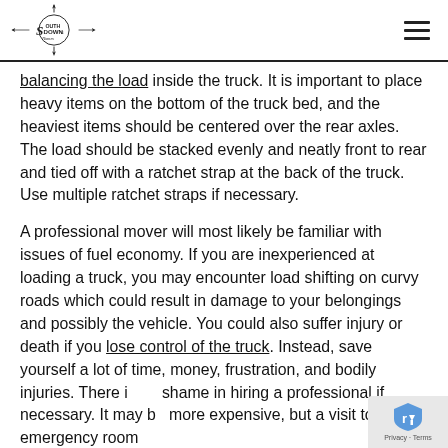Southdown Homes
balancing the load inside the truck. It is important to place heavy items on the bottom of the truck bed, and the heaviest items should be centered over the rear axles. The load should be stacked evenly and neatly front to rear and tied off with a ratchet strap at the back of the truck. Use multiple ratchet straps if necessary.
A professional mover will most likely be familiar with issues of fuel economy. If you are inexperienced at loading a truck, you may encounter load shifting on curvy roads which could result in damage to your belongings and possibly the vehicle. You could also suffer injury or death if you lose control of the truck. Instead, save yourself a lot of time, money, frustration, and bodily injuries. There is no shame in hiring a professional if necessary. It may be more expensive, but a visit to the emergency room